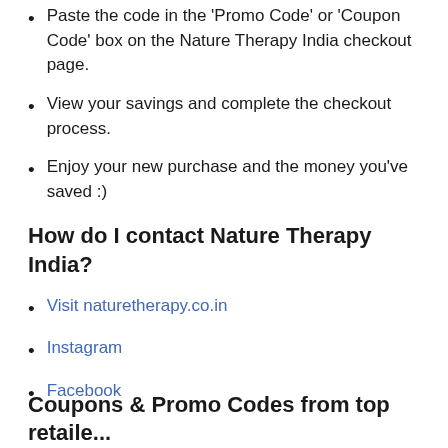Paste the code in the 'Promo Code' or 'Coupon Code' box on the Nature Therapy India checkout page.
View your savings and complete the checkout process.
Enjoy your new purchase and the money you've saved :)
How do I contact Nature Therapy India?
Visit naturetherapy.co.in
Instagram
Facebook
Coupons & Promo Codes from top retaile...